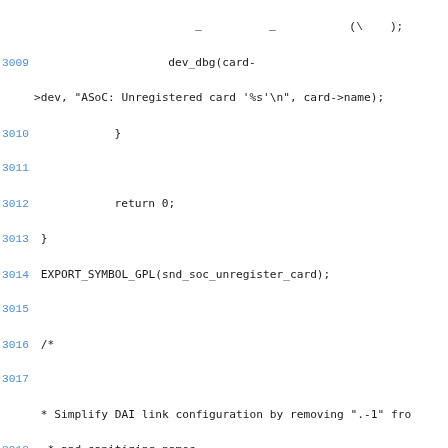Source code listing, lines 3009-3029, C kernel code for ASoC sound card unregister and fmt_single_name functions